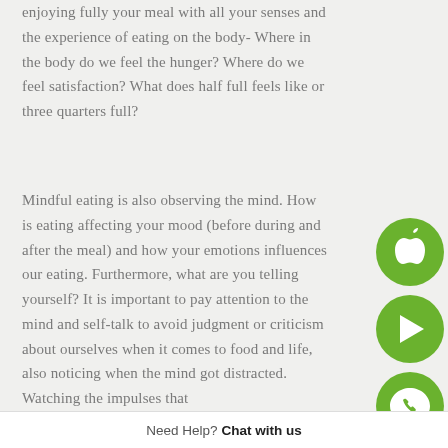enjoying fully your meal with all your senses and the experience of eating on the body- Where in the body do we feel the hunger? Where do we feel satisfaction? What does half full feels like or three quarters full?
Mindful eating is also observing the mind. How is eating affecting your mood (before during and after the meal) and how your emotions influences our eating. Furthermore, what are you telling yourself? It is important to pay attention to the mind and self-talk to avoid judgment or criticism about ourselves when it comes to food and life, also noticing when the mind got distracted. Watching the impulses that
[Figure (illustration): Green circle button with white Apple logo icon]
[Figure (illustration): Green circle button with white Google Play triangle/arrow logo icon]
[Figure (illustration): Green circle button with white WhatsApp phone/speech bubble logo icon]
Need Help? Chat with us